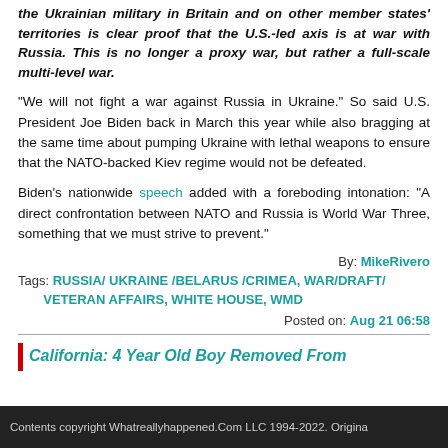the Ukrainian military in Britain and on other member states' territories is clear proof that the U.S.-led axis is at war with Russia. This is no longer a proxy war, but rather a full-scale multi-level war.
“We will not fight a war against Russia in Ukraine.” So said U.S. President Joe Biden back in March this year while also bragging at the same time about pumping Ukraine with lethal weapons to ensure that the NATO-backed Kiev regime would not be defeated.
Biden’s nationwide speech added with a foreboding intonation: “A direct confrontation between NATO and Russia is World War Three, something that we must strive to prevent.”
By: MikeRivero
Tags: RUSSIA/ UKRAINE /BELARUS /CRIMEA, WAR/DRAFT/ VETERAN AFFAIRS, WHITE HOUSE, WMD
Posted on: Aug 21 06:58
California: 4 Year Old Boy Removed From
Contents copyright Whatreallyhappened.Com LLC 1994-2022. Origina